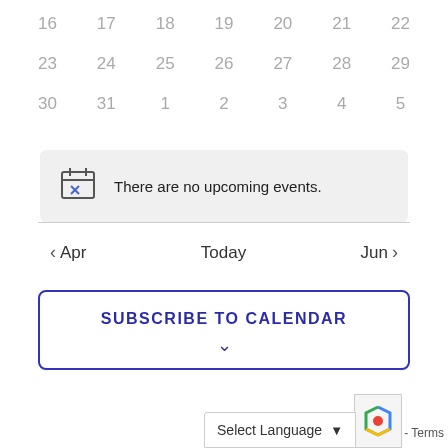[Figure (screenshot): Calendar grid showing dates 16-22, 23-29, 30-31 and 1-5 in light gray numbers]
There are no upcoming events.
< Apr   Today   Jun >
SUBSCRIBE TO CALENDAR
Select Language